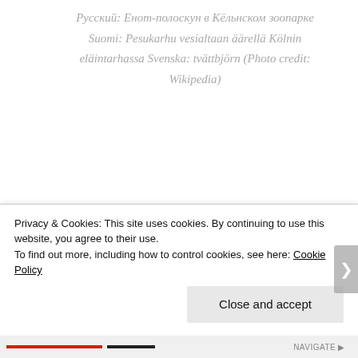Русский: Енот-полоскун в Кёльнском зоопарке Suomi: Pesukarhu vesialtaan äärellä Kölnin eläintarhassa Svenska: tvättbjörn (Photo credit: Wikipedia)
We all love raccoons. the silly masked creatures that instill laughter from cartoon characters that our children watch every
Privacy & Cookies: This site uses cookies. By continuing to use this website, you agree to their use.
To find out more, including how to control cookies, see here: Cookie Policy